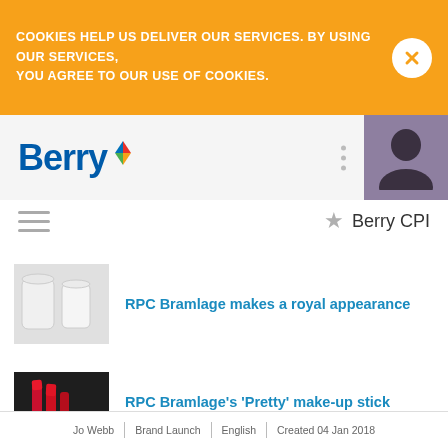COOKIES HELP US DELIVER OUR SERVICES. BY USING OUR SERVICES, YOU AGREE TO OUR USE OF COOKIES.
[Figure (logo): Berry logo with colorful kite icon and blue Berry text]
Berry CPI
[Figure (photo): White cosmetic containers/jars on white background]
RPC Bramlage makes a royal appearance
[Figure (photo): Red lipstick/make-up sticks on dark background]
RPC Bramlage's 'Pretty' make-up stick provides beauty with a twist
Jo Webb | Brand Launch | English | Created 04 Jan 2018